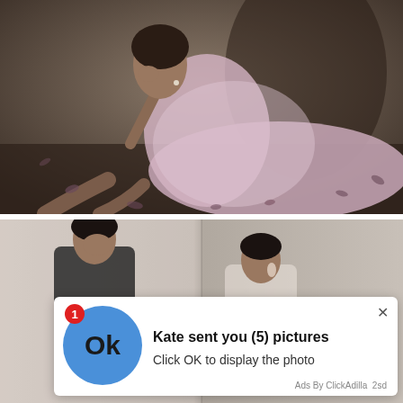[Figure (photo): Fashion photograph of a young woman in a lavender/pink lace gown reclining on a dark floor with petals scattered around, shot in a sepia-toned editorial style.]
[Figure (photo): Fashion photograph showing a woman in a black outfit, partially obscured by an ad overlay popup.]
Kate sent you (5) pictures
Click OK to display the photo
Ads By ClickAdilla  2sd